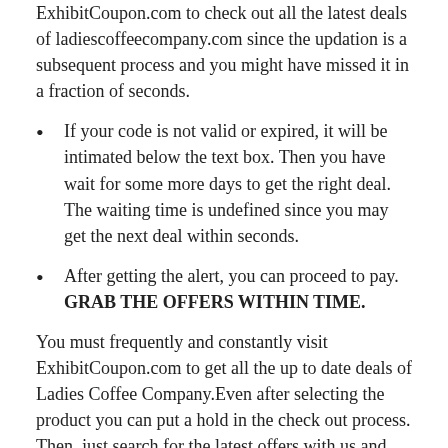ExhibitCoupon.com to check out all the latest deals of ladiescoffeecompany.com since the updation is a subsequent process and you might have missed it in a fraction of seconds.
If your code is not valid or expired, it will be intimated below the text box. Then you have wait for some more days to get the right deal. The waiting time is undefined since you may get the next deal within seconds.
After getting the alert, you can proceed to pay. GRAB THE OFFERS WITHIN TIME.
You must frequently and constantly visit ExhibitCoupon.com to get all the up to date deals of Ladies Coffee Company.Even after selecting the product you can put a hold in the check out process. Then, just search for the latest offers with us and then you can resume and proceed to pay. Believe us; this way will